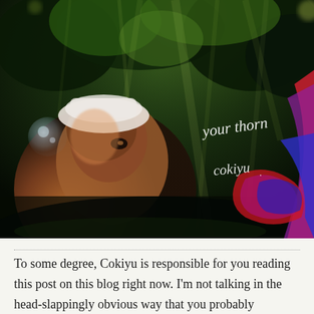[Figure (photo): A dramatic, somewhat abstract photograph showing a figure with a white hat in a shadowy forest environment with light rays streaming through dark green trees. Colorful fabric (red, purple, blue) is visible on the right side. Text handwritten in white reads 'your thorn' and 'cokiyu' overlaid on the image.]
To some degree, Cokiyu is responsible for you reading this post on this blog right now. I'm not talking in the head-slappingly obvious way that you probably Googled that name and somehow ended up here, but rather the